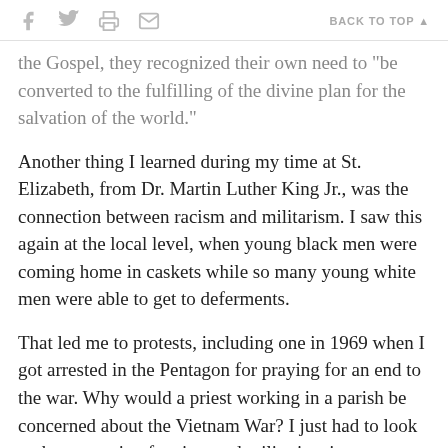f [twitter] [print] [email]   BACK TO TOP ▲
the Gospel, they recognized their own need to "be converted to the fulfilling of the divine plan for the salvation of the world."
Another thing I learned during my time at St. Elizabeth, from Dr. Martin Luther King Jr., was the connection between racism and militarism. I saw this again at the local level, when young black men were coming home in caskets while so many young white men were able to get to deferments.
That led me to protests, including one in 1969 when I got arrested in the Pentagon for praying for an end to the war. Why would a priest working in a parish be concerned about the Vietnam War? I just had to look at the grave sin of racism and militarism in our neighborhood to know the answer.